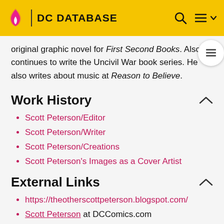DC DATABASE
original graphic novel for First Second Books. Also he continues to write the Uncivil War book series. He also writes about music at Reason to Believe.
Work History
Scott Peterson/Editor
Scott Peterson/Writer
Scott Peterson/Creations
Scott Peterson's Images as a Cover Artist
External Links
https://theotherscottpeterson.blogspot.com/
Scott Peterson at DCComics.com